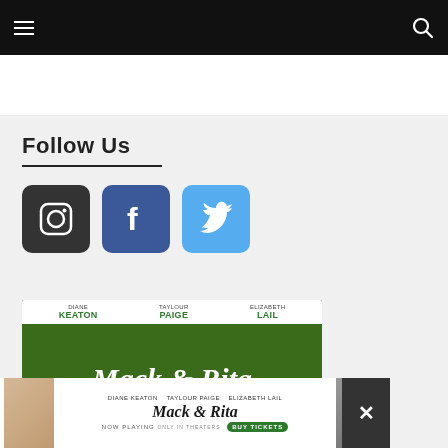Navigation bar with hamburger menu and search icon
Follow Us
[Figure (logo): Instagram icon — dark square rounded button with camera icon]
[Figure (logo): Facebook icon — blue square rounded button with f logo]
[Figure (logo): Twitter icon — light blue square rounded button with bird logo]
[Figure (other): Mack & Rita movie advertisement banner showing Diane Keaton, Taylour Paige, Elizabeth Lail with green leafy background and 'Now Playing' text]
[Figure (other): Bottom overlay ad for Mack & Rita featuring Diane Keaton, Taylour Paige, Elizabeth Lail, Now Playing, Buy Tickets button, with close X button]